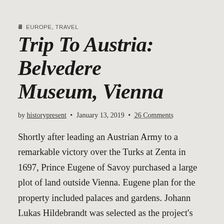EUROPE, TRAVEL
Trip To Austria: Belvedere Museum, Vienna
by historypresent • January 13, 2019 • 26 Comments
Shortly after leading an Austrian Army to a remarkable victory over the Turks at Zenta in 1697, Prince Eugene of Savoy purchased a large plot of land outside Vienna. Eugene plan for the property included palaces and gardens. Johann Lukas Hildebrandt was selected as the project's